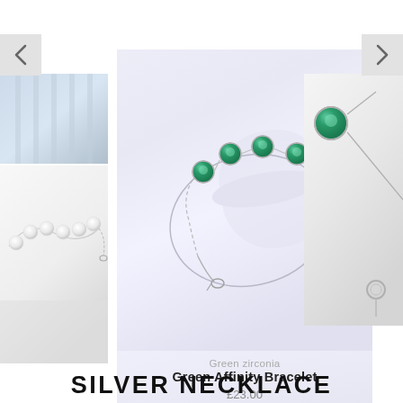[Figure (photo): Left navigation arrow button on grey background]
[Figure (photo): Right navigation arrow button on grey background]
[Figure (photo): Left thumbnail strip showing two jewelry images: top one with silver/blue tones, bottom one with pearl bracelet on white background]
[Figure (photo): Center main product photo: Green Affinity Bracelet with green zirconia stones on silver chain, displayed on white/lavender background]
[Figure (photo): Right thumbnail showing partial view of a bracelet with green stone on silver chain]
Green zirconia
Green Affinity Bracelet
£23.00
SILVER NECKLACE